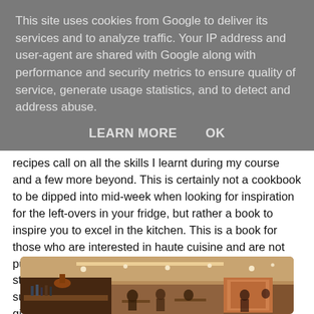This site uses cookies from Google to deliver its services and to analyze traffic. Your IP address and user-agent are shared with Google along with performance and security metrics to ensure quality of service, generate usage statistics, and to detect and address abuse.
LEARN MORE    OK
recipes call on all the skills I learnt during my course and a few more beyond. This is certainly not a cookbook to be dipped into mid-week when looking for inspiration for the left-overs in your fridge, but rather a book to inspire you to excel in the kitchen. This is a book for those who are interested in haute cuisine and are not put off by unusual ingredients like soya lecithin (foam stabilizer) or Sosa gelespessa (thickening agent). A supplier's list of these hard to track down ingredients is given on page 516.
[Figure (photo): Interior of a restaurant showing bar area with warm lighting, ceiling lights, and patrons seated at tables]